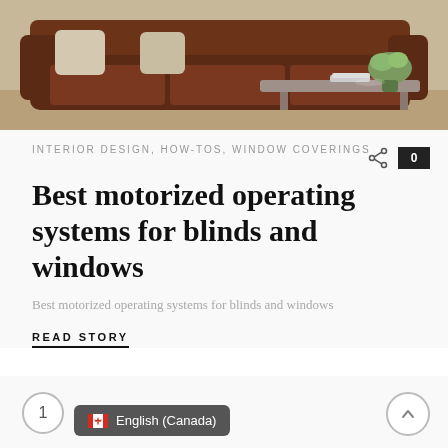[Figure (photo): Interior living room photo showing a dark brown leather Chesterfield sofa with cushions and a glass coffee table with a green flower arrangement on top]
INTERIOR DESIGN, HOW-TOS, WINDOW COVERINGS
Best motorized operating systems for blinds and windows
Best motorized operating systems for blinds and windows
READ STORY
1
English (Canada)